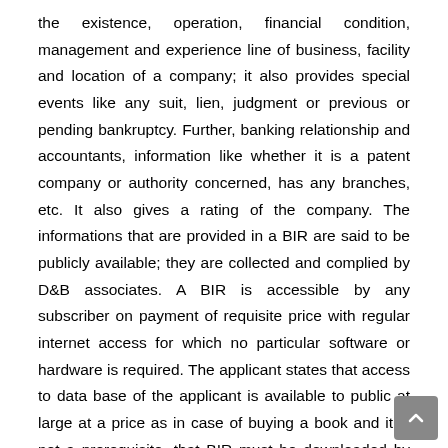the existence, operation, financial condition, management and experience line of business, facility and location of a company; it also provides special events like any suit, lien, judgment or previous or pending bankruptcy. Further, banking relationship and accountants, information like whether it is a patent company or authority concerned, has any branches, etc. It also gives a rating of the company. The informations that are provided in a BIR are said to be publicly available; they are collected and complied by D&B associates. A BIR is accessible by any subscriber on payment of requisite price with regular internet access for which no particular software or hardware is required. The applicant states that access to data base of the applicant is available to public at large at a price as in case of buying a book and it is not a prerequisite, that BIR must be downloaded by DBIS only and in fact some clients, such as Export Credit Guarantee Corporation, in fact, access the server themselves to download BIR. The applicant does not have any server in India for the use of DB to load the applicant has specifically argued that the copyright is